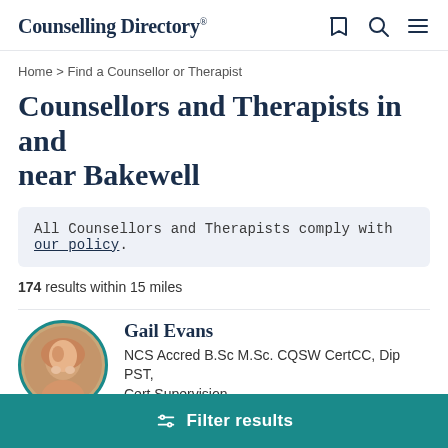Counselling Directory
Home > Find a Counsellor or Therapist
Counsellors and Therapists in and near Bakewell
All Counsellors and Therapists comply with our policy.
174 results within 15 miles
Gail Evans
NCS Accred B.Sc M.Sc. CQSW CertCC, Dip PST, Cert Supervision
Filter results